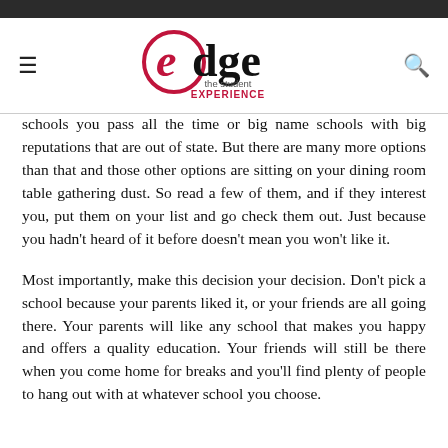edge the student EXPERIENCE
schools you pass all the time or big name schools with big reputations that are out of state. But there are many more options than that and those other options are sitting on your dining room table gathering dust. So read a few of them, and if they interest you, put them on your list and go check them out. Just because you hadn't heard of it before doesn't mean you won't like it.
Most importantly, make this decision your decision. Don't pick a school because your parents liked it, or your friends are all going there. Your parents will like any school that makes you happy and offers a quality education. Your friends will still be there when you come home for breaks and you'll find plenty of people to hang out with at whatever school you choose.